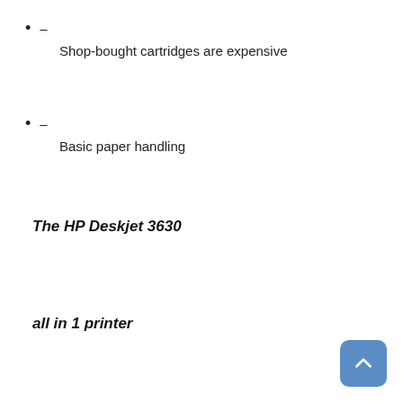– Shop-bought cartridges are expensive
– Basic paper handling
The HP Deskjet 3630
all in 1 printer